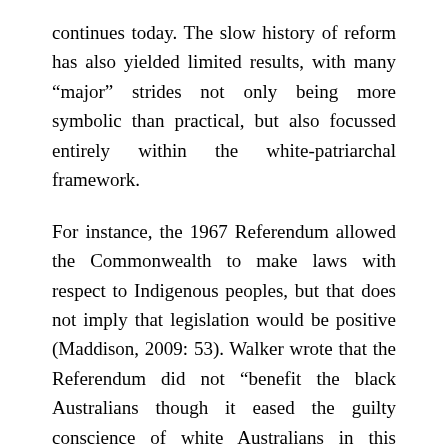continues today. The slow history of reform has also yielded limited results, with many “major” strides not only being more symbolic than practical, but also focussed entirely within the white-patriarchal framework.
For instance, the 1967 Referendum allowed the Commonwealth to make laws with respect to Indigenous peoples, but that does not imply that legislation would be positive (Maddison, 2009: 53). Walker wrote that the Referendum did not “benefit the black Australians though it eased the guilty conscience of white Australians in this country and overseas.” (Walker, 2020). She believed it was a victory for white Australians who “demand” that black Australians adhere to the aims set by them without any regard for